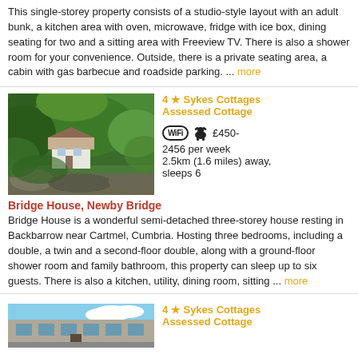This single-storey property consists of a studio-style layout with an adult bunk, a kitchen area with oven, microwave, fridge with ice box, dining seating for two and a sitting area with Freeview TV. There is also a shower room for your convenience. Outside, there is a private seating area, a cabin with gas barbecue and roadside parking. ... more
[Figure (photo): Photo of Bridge House, Newby Bridge - a white cottage surrounded by dense green trees and vegetation, viewed from above]
4 ★ Sykes Cottages Assessed Cottage
£450-2456 per week
2.5km (1.6 miles) away, sleeps 6
Bridge House, Newby Bridge
Bridge House is a wonderful semi-detached three-storey house resting in Backbarrow near Cartmel, Cumbria. Hosting three bedrooms, including a double, a twin and a second-floor double, along with a ground-floor shower room and family bathroom, this property can sleep up to six guests. There is also a kitchen, utility, dining room, sitting ... more
[Figure (photo): Photo of another cottage listing - a building with blue sky visible]
4 ★ Sykes Cottages Assessed Cottage